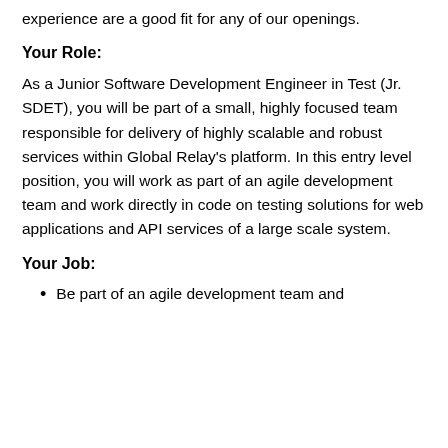experience are a good fit for any of our openings.
Your Role:
As a Junior Software Development Engineer in Test (Jr. SDET), you will be part of a small, highly focused team responsible for delivery of highly scalable and robust services within Global Relay's platform. In this entry level position, you will work as part of an agile development team and work directly in code on testing solutions for web applications and API services of a large scale system.
Your Job:
Be part of an agile development team and